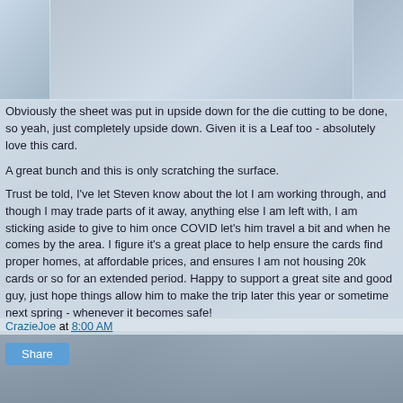[Figure (photo): Collage background of sports trading cards (baseball and hockey) in muted blue-grey tones]
Obviously the sheet was put in upside down for the die cutting to be done, so yeah, just completely upside down. Given it is a Leaf too - absolutely love this card.
A great bunch and this is only scratching the surface.
Trust be told, I've let Steven know about the lot I am working through, and though I may trade parts of it away, anything else I am left with, I am sticking aside to give to him once COVID let's him travel a bit and when he comes by the area. I figure it's a great place to help ensure the cards find proper homes, at affordable prices, and ensures I am not housing 20k cards or so for an extended period. Happy to support a great site and good guy, just hope things allow him to make the trip later this year or sometime next spring - whenever it becomes safe!
CrazieJoe at 8:00 AM